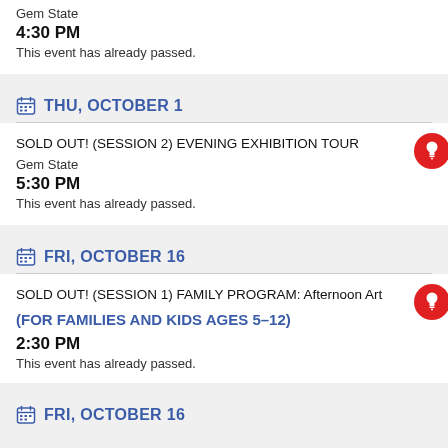Gem State
4:30 PM
This event has already passed.
THU, OCTOBER 1
SOLD OUT! (SESSION 2) EVENING EXHIBITION TOUR
Gem State
5:30 PM
This event has already passed.
FRI, OCTOBER 16
SOLD OUT! (SESSION 1) FAMILY PROGRAM: Afternoon Art
(FOR FAMILIES AND KIDS AGES 5–12)
2:30 PM
This event has already passed.
FRI, OCTOBER 16